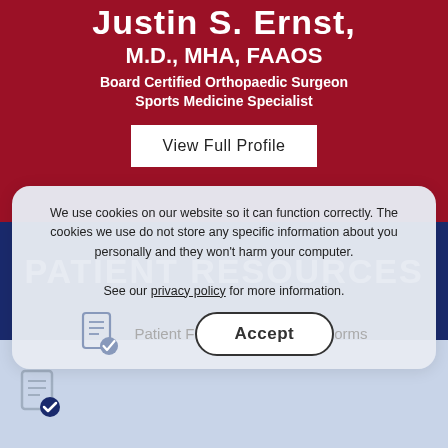Justin S. Ernst, M.D., MHA, FAAOS
Board Certified Orthopaedic Surgeon
Sports Medicine Specialist
View Full Profile
PATIENT RESOURCES
We use cookies on our website so it can function correctly. The cookies we use do not store any specific information about you personally and they won't harm your computer.

See our privacy policy for more information.
Patient Forms
Accept